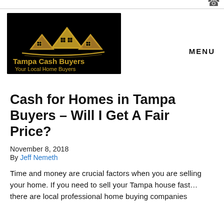[Figure (logo): Tampa Cash Buyers logo — black background with gold house/mountain icon SVG, text 'Tampa Cash Buyers' and 'Your Local Home Buyers' in gold]
MENU
Cash for Homes in Tampa Buyers – Will I Get A Fair Price?
November 8, 2018
By Jeff Nemeth
Time and money are crucial factors when you are selling your home. If you need to sell your Tampa house fast… there are local professional home buying companies